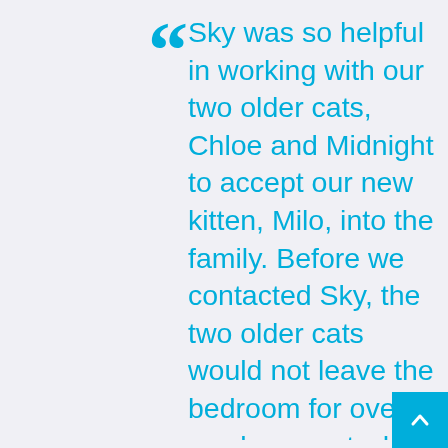“ Sky was so helpful in working with our two older cats, Chloe and Midnight to accept our new kitten, Milo, into the family. Before we contacted Sky, the two older cats would not leave the bedroom for over a week, except when Milo was locked in his room and they were very unhappy with us. Sky helped them voice their feelings, suggested to them that they could try to get along, and explained that Milo needed a home. Midnight and Chloe finally